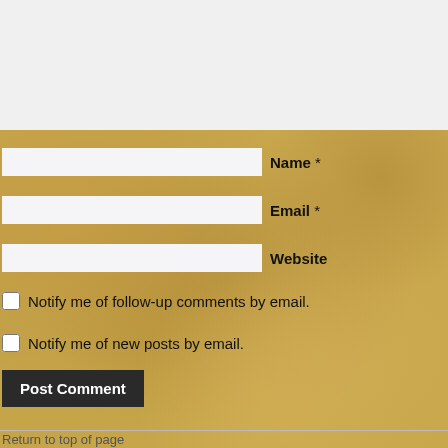Name *
Email *
Website
Notify me of follow-up comments by email.
Notify me of new posts by email.
Post Comment
Return to top of page